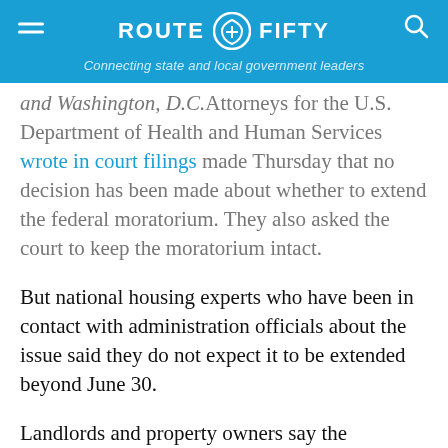ROUTE FIFTY — Connecting state and local government leaders
and Washington, D.C.Attorneys for the U.S. Department of Health and Human Services wrote in court filings made Thursday that no decision has been made about whether to extend the federal moratorium. They also asked the court to keep the moratorium intact.
But national housing experts who have been in contact with administration officials about the issue said they do not expect it to be extended beyond June 30.
Landlords and property owners say the